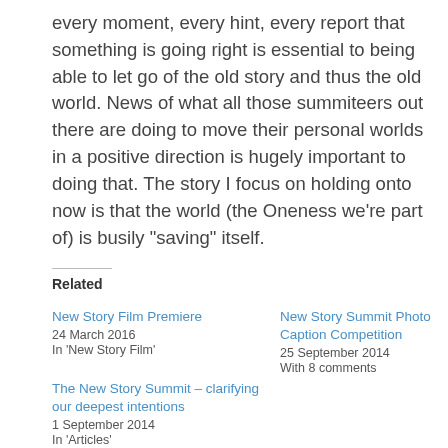every moment, every hint, every report that something is going right is essential to being able to let go of the old story and thus the old world. News of what all those summiteers out there are doing to move their personal worlds in a positive direction is hugely important to doing that. The story I focus on holding onto now is that the world (the Oneness we're part of) is busily "saving" itself.
Related
New Story Film Premiere
24 March 2016
In 'New Story Film'
New Story Summit Photo Caption Competition
25 September 2014
With 8 comments
The New Story Summit – clarifying our deepest intentions
1 September 2014
In 'Articles'